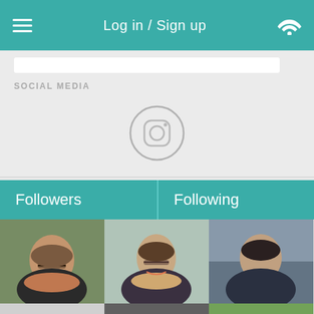Log in / Sign up
SOCIAL MEDIA
[Figure (screenshot): Instagram icon circle outline]
Followers
Following
[Figure (photo): Six profile photo thumbnails in a 3x2 grid: man with glasses and beard, woman with glasses smiling, man with dark hair, dinosaur/lizard creature 3D render, man smiling outdoors, anime-style character in circle]